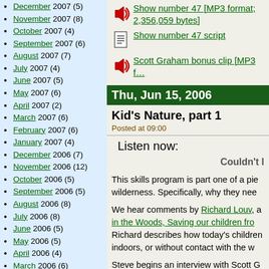December 2007 (5)
November 2007 (8)
October 2007 (4)
September 2007 (6)
August 2007 (7)
July 2007 (4)
June 2007 (5)
May 2007 (6)
April 2007 (2)
March 2007 (6)
February 2007 (6)
January 2007 (4)
December 2006 (7)
November 2006 (12)
October 2006 (5)
September 2006 (5)
August 2006 (8)
July 2006 (8)
June 2006 (5)
May 2006 (5)
April 2006 (4)
March 2006 (6)
February 2006 (4)
January 2006 (7)
December 2005 (4)
November 2005 (7)
October 2005 (6)
September 2005 (6)
August 2005 (3)
July 2005 (2)
Show number 47 [MP3 format; 2,356,059 bytes]
Show number 47 script
Scott Graham bonus clip [MP3 ...
Thu, Jun 15, 2006
Kid's Nature, part 1
Posted at 09:00
Listen now:
Couldn't l...
This skills program is part one of a pie... wilderness. Specifically, why they nee...
We hear comments by Richard Louv, a... in the Woods, Saving our children fro... Richard describes how today's children... indoors, or without contact with the w...
Steve begins an interview with Scott G...